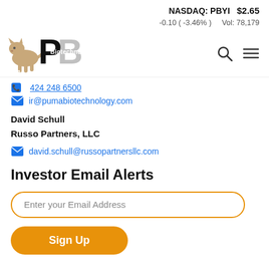NASDAQ: PBYI $2.65 -0.10 ( -3.46% ) Vol: 78,179
[Figure (logo): Puma Biotechnology logo with puma image and PB letters]
424 248 6500
ir@pumabiotechnology.com
David Schull
Russo Partners, LLC
david.schull@russopartnersllc.com
Investor Email Alerts
Enter your Email Address
Sign Up